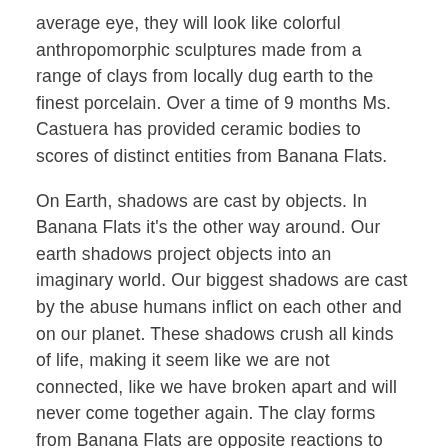average eye, they will look like colorful anthropomorphic sculptures made from a range of clays from locally dug earth to the finest porcelain. Over a time of 9 months Ms. Castuera has provided ceramic bodies to scores of distinct entities from Banana Flats.
On Earth, shadows are cast by objects. In Banana Flats it's the other way around. Our earth shadows project objects into an imaginary world. Our biggest shadows are cast by the abuse humans inflict on each other and on our planet. These shadows crush all kinds of life, making it seem like we are not connected, like we have broken apart and will never come together again. The clay forms from Banana Flats are opposite reactions to the big shadows of Earth. They are small, but in their humble way they have the potential to keep us connected to each other and our humanity.
Ako Castuera recently exhibited at the Oakland Museum